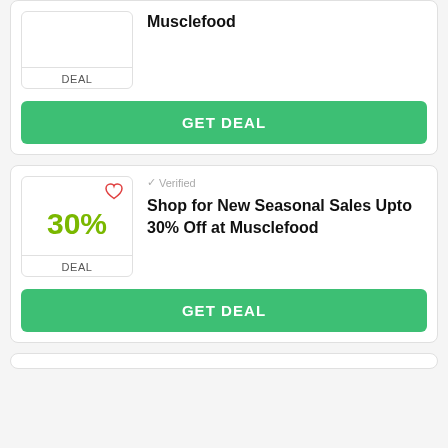[Figure (other): Top partial deal card with empty badge box showing DEAL label and GET DEAL green button for Musclefood]
[Figure (other): Deal card: 30% off badge with heart icon, Verified label, title Shop for New Seasonal Sales Upto 30% Off at Musclefood, GET DEAL green button]
[Figure (other): Bottom partial deal card, partially visible]